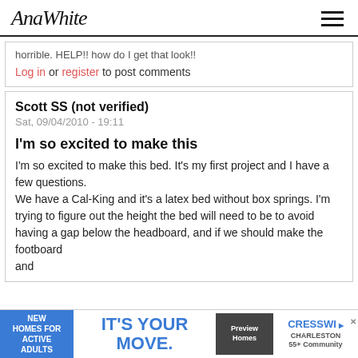AnaWhite
horrible. HELP!! how do I get that look!!
Log in or register to post comments
Scott SS (not verified)
Sat, 09/04/2010 - 19:11
I'm so excited to make this
I'm so excited to make this bed. It's my first project and I have a few questions.
We have a Cal-King and it's a latex bed without box springs. I'm trying to figure out the height the bed will need to be to avoid having a gap below the headboard, and if we should make the footboard and...
[Figure (other): Advertisement banner: New Homes for Active Adults - IT'S YOUR MOVE. Preview Homes. CRESSWI Charleston 55+ Community]